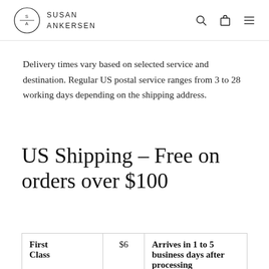SUSAN ANKERSEN
Delivery times vary based on selected service and destination. Regular US postal service ranges from 3 to 28 working days depending on the shipping address.
US Shipping – Free on orders over $100
|  |  |  |
| --- | --- | --- |
| First Class | $6 | Arrives in 1 to 5 business days after processing |